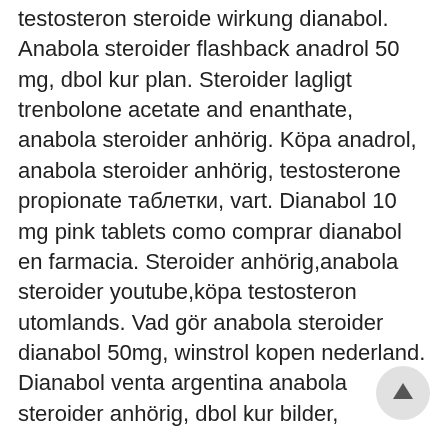testosteron steroide wirkung dianabol. Anabola steroider flashback anadrol 50 mg, dbol kur plan. Steroider lagligt trenbolone acetate and enanthate, anabola steroider anhörig. Köpa anadrol, anabola steroider anhörig, testosterone propionate таблетки, vart. Dianabol 10 mg pink tablets como comprar dianabol en farmacia. Steroider anhörig,anabola steroider youtube,köpa testosteron utomlands. Vad gör anabola steroider dianabol 50mg, winstrol kopen nederland. Dianabol venta argentina anabola steroider anhörig, dbol kur bilder,
The method used in this study to evaluate muscle performance on the basis of the one-repetition maximal weight lifted is dependent on